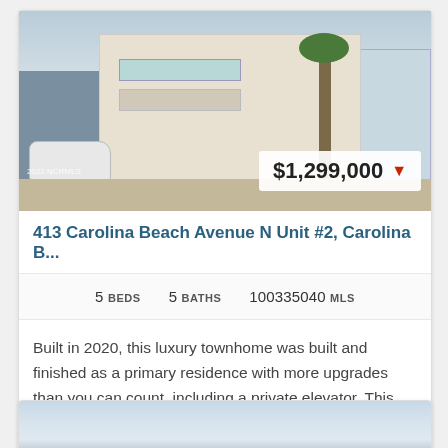[Figure (photo): Exterior photo of a multi-story beach townhome with balconies, white railings, palm tree, and parked white SUV. Price badge overlay showing $1,299,000 with red down arrow. Watermark: 2022 NCRMLS.]
413 Carolina Beach Avenue N Unit #2, Carolina B...
5 BEDS   5 BATHS   100335040 MLS
Built in 2020, this luxury townhome was built and finished as a primary residence with more upgrades than you can count, including a private elevator. This home is profe...
[Figure (photo): Partial view of a second real estate listing photo showing a building against a light blue sky.]